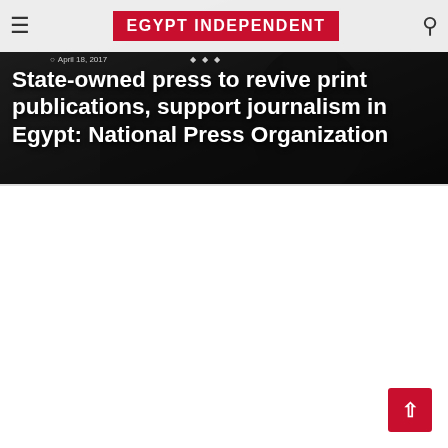EGYPT INDEPENDENT
[Figure (photo): Dark background photo (appears to show a person in dark clothing) used as hero image behind the article title]
State-owned press to revive print publications, support journalism in Egypt: National Press Organization
April 18, 2017